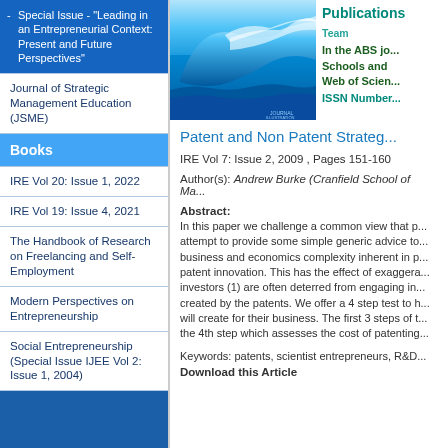Special Issue - "Leading in an Entrepreneurial Context: Present and Future Perspectives"
Journal of Strategic Management Education (JSME)
Books
IRE Vol 20: Issue 1, 2022
IRE Vol 19: Issue 4, 2021
The Handbook of Research on Freelancing and Self-Employment
Modern Perspectives on Entrepreneurship
Social Entrepreneurship (Special Issue IJEE Vol 2: Issue 1, 2004)
[Figure (photo): Ocean wave photo used as journal cover image]
Publications
In the ABS journal Guide, Chartered Association of Business Schools and Cabell's Directory, and indexed in EBSCO, Proquest, Web of Science and Scopus.
ISSN Number:
Patent and Non Patent Strateg...
IRE Vol 7: Issue 2, 2009 , Pages 151-160
Author(s): Andrew Burke (Cranfield School of Ma...
Abstract:
In this paper we challenge a common view that p... attempt to provide some simple generic advice to... business and economics complexity inherent in p... patent innovation. This has the effect of exaggera... investors (1) are often deterred from engaging in... created by the patents. We offer a 4 step test to h... will create for their business. The first 3 steps of t... the 4th step which assesses the cost of patenting...
Keywords: patents, scientist entrepreneurs, R&D...
Download this Article